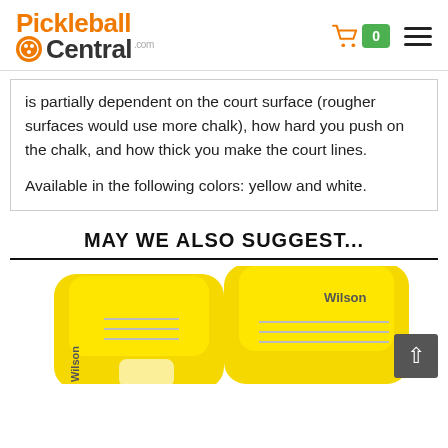Pickleball Central
is partially dependent on the court surface (rougher surfaces would use more chalk), how hard you push on the chalk, and how thick you make the court lines.

Available in the following colors: yellow and white.
MAY WE ALSO SUGGEST...
[Figure (photo): Yellow Wilson pickleball paddles shown from above, partially cropped at the bottom of the page.]